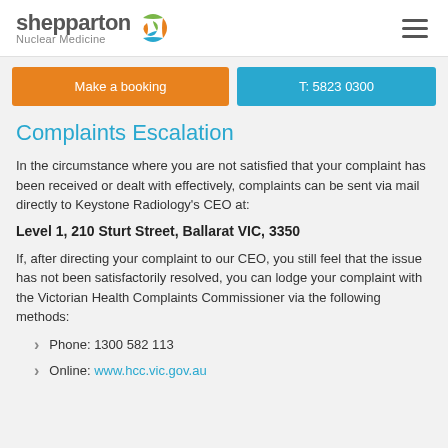[Figure (logo): Shepparton Nuclear Medicine logo with stylized circular icon in green, orange and blue]
Make a booking
T: 5823 0300
Complaints Escalation
In the circumstance where you are not satisfied that your complaint has been received or dealt with effectively, complaints can be sent via mail directly to Keystone Radiology's CEO at:
Level 1, 210 Sturt Street, Ballarat VIC, 3350
If, after directing your complaint to our CEO, you still feel that the issue has not been satisfactorily resolved, you can lodge your complaint with the Victorian Health Complaints Commissioner via the following methods:
Phone: 1300 582 113
Online: www.hcc.vic.gov.au